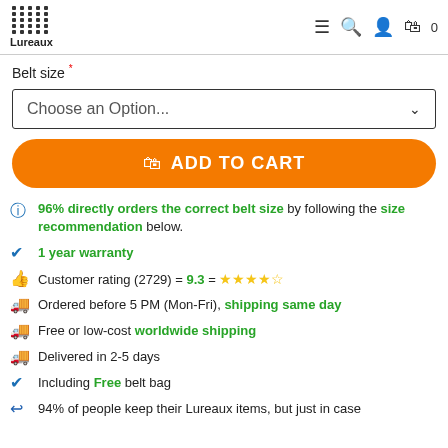Lureaux [menu] [search] [account] [cart] 0
Belt size *
Choose an Option...
ADD TO CART
96% directly orders the correct belt size by following the size recommendation below.
1 year warranty
Customer rating (2729) = 9.3 = ★★★★★
Ordered before 5 PM (Mon-Fri), shipping same day
Free or low-cost worldwide shipping
Delivered in 2-5 days
Including Free belt bag
94% of people keep their Lureaux items, but just in case